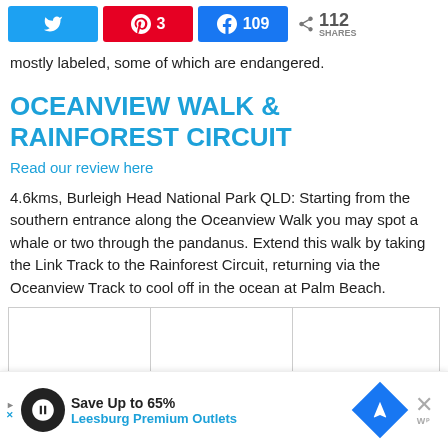[Figure (infographic): Social share buttons row: Twitter (blue), Pinterest (red, count: 3), Facebook (blue, count: 109), and total shares icon showing 112 SHARES]
mostly labeled, some of which are endangered.
OCEANVIEW WALK & RAINFOREST CIRCUIT
Read our review here
4.6kms, Burleigh Head National Park QLD: Starting from the southern entrance along the Oceanview Walk you may spot a whale or two through the pandanus. Extend this walk by taking the Link Track to the Rainforest Circuit, returning via the Oceanview Track to cool off in the ocean at Palm Beach.
|   |   |   |
[Figure (infographic): Advertisement banner: Save Up to 65% - Leesburg Premium Outlets, with circular logo, blue diamond navigation icon, close X button and WP logo]